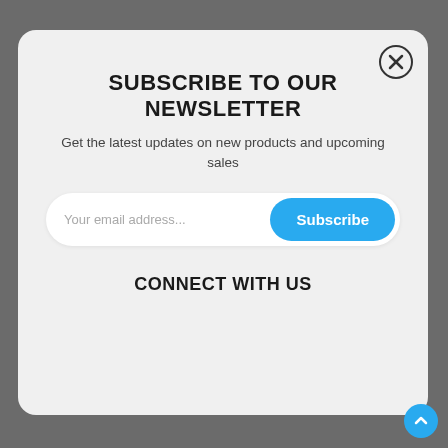SUBSCRIBE TO OUR NEWSLETTER
Get the latest updates on new products and upcoming sales
Your email address...
Subscribe
CONNECT WITH US